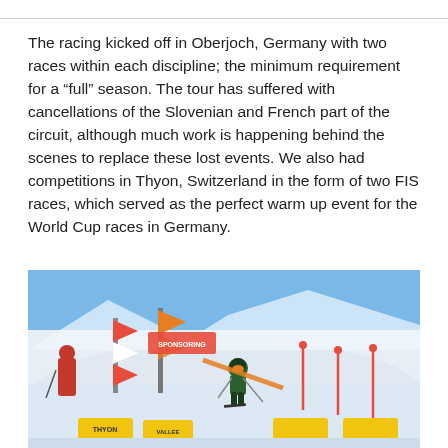The racing kicked off in Oberjoch, Germany with two races within each discipline; the minimum requirement for a “full” season. The tour has suffered with cancellations of the Slovenian and French part of the circuit, although much work is happening behind the scenes to replace these lost events. We also had competitions in Thyon, Switzerland in the form of two FIS races, which served as the perfect warm up event for the World Cup races in Germany.
[Figure (photo): A ski racer in a green suit and orange goggles navigating through slalom gates on a snowy slope, with red and orange sponsor banners/flags visible, another person in red on the left, and yellow THYON/VALLEE branded barriers on the course. Blue sky and snowy mountains in background.]